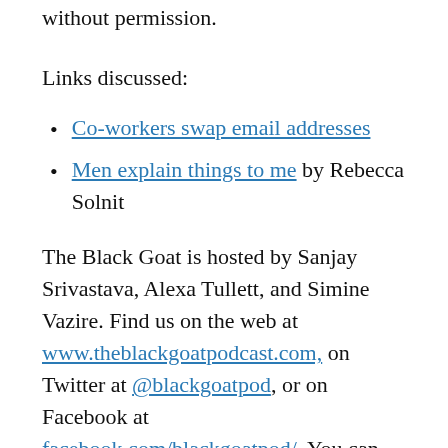without permission.
Links discussed:
Co-workers swap email addresses
Men explain things to me by Rebecca Solnit
The Black Goat is hosted by Sanjay Srivastava, Alexa Tullett, and Simine Vazire. Find us on the web at www.theblackgoatpodcast.com, on Twitter at @blackgoatpod, or on Facebook at facebook.com/blackgoatpod/. You can email us at letters@theblackgoatpodcast.com.
Our theme music is Peak Beak by Doctor Turtle, available on freemusicarchive.org under a